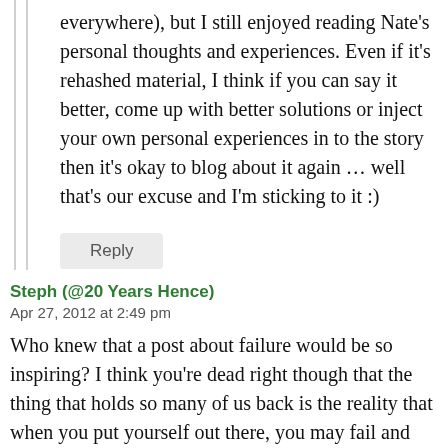everywhere), but I still enjoyed reading Nate's personal thoughts and experiences. Even if it's rehashed material, I think if you can say it better, come up with better solutions or inject your own personal experiences in to the story then it's okay to blog about it again … well that's our excuse and I'm sticking to it :)
Reply
Steph (@20 Years Hence)
Apr 27, 2012 at 2:49 pm
Who knew that a post about failure would be so inspiring? I think you're dead right though that the thing that holds so many of us back is the reality that when you put yourself out there, you may fail and that is scary and for the longest. But no, might the internet that...